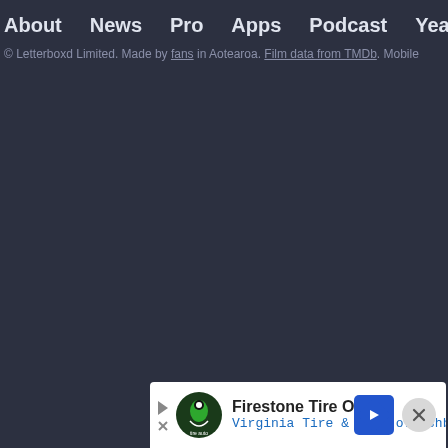About  News  Pro  Apps  Podcast  Year in Review  Gif
© Letterboxd Limited. Made by fans in Aotearoa. Film data from TMDb. Mobile
[Figure (screenshot): Advertisement banner for Firestone Tire Offer - Virginia Tire & Auto of Ashburn, with logo, arrow icon, and close button]